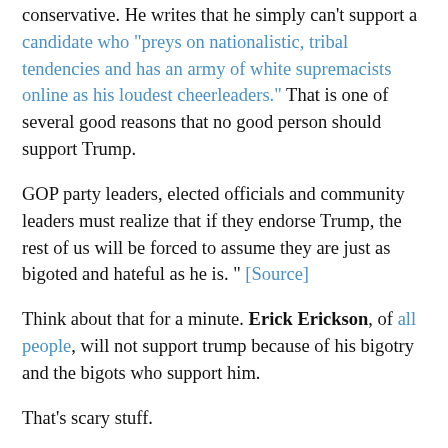conservative. He writes that he simply can't support a candidate who "preys on nationalistic, tribal tendencies and has an army of white supremacists online as his loudest cheerleaders." That is one of several good reasons that no good person should support Trump.
GOP party leaders, elected officials and community leaders must realize that if they endorse Trump, the rest of us will be forced to assume they are just as bigoted and hateful as he is. " [Source]
Think about that for a minute. Erick Erickson, of all people, will not support trump because of his bigotry and the bigots who support him.
That's scary stuff.
This might all be too late, though, because I am afraid the genie has already left the bottle.
As America we must now prepare ourselves for the very real possibility that Donald trump could be her next president.